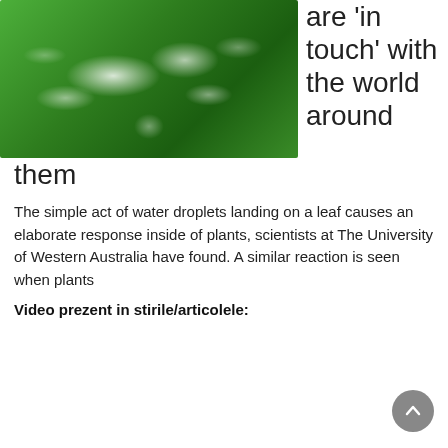[Figure (photo): Close-up photo of water droplets on a green leaf surface]
are 'in touch' with the world around them
The simple act of water droplets landing on a leaf causes an elaborate response inside of plants, scientists at The University of Western Australia have found. A similar reaction is seen when plants
Video prezent in stirile/articolele: